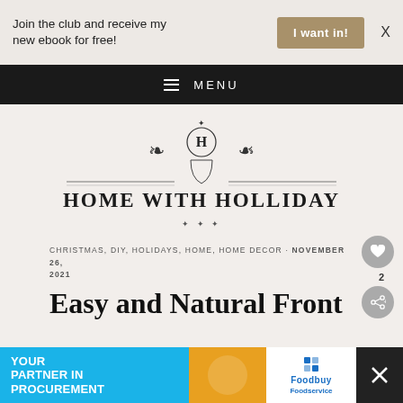Join the club and receive my new ebook for free!
MENU
[Figure (logo): Home with Holliday ornate logo with H monogram crest and serif text]
CHRISTMAS, DIY, HOLIDAYS, HOME, HOME DECOR · NOVEMBER 26, 2021
Easy and Natural Front